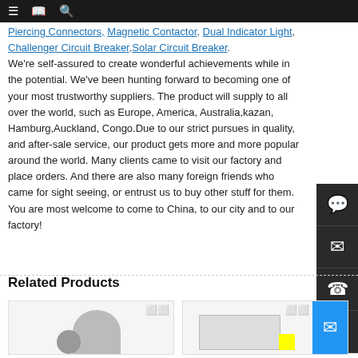Navigation bar with menu, bookmark, and search icons
Piercing Connectors, Magnetic Contactor, Dual Indicator Light, Challenger Circuit Breaker, Solar Circuit Breaker. We're self-assured to create wonderful achievements while in the potential. We've been hunting forward to becoming one of your most trustworthy suppliers. The product will supply to all over the world, such as Europe, America, Australia, kazan, Hamburg, Auckland, Congo. Due to our strict pursues in quality, and after-sale service, our product gets more and more popular around the world. Many clients came to visit our factory and place orders. And there are also many foreign friends who came for sight seeing, or entrust us to buy other stuff for them. You are most welcome to come to China, to our city and to our factory!
Related Products
[Figure (photo): Product card 1 showing a round component image]
[Figure (photo): Product card 2 showing a rectangular component with blue accent]